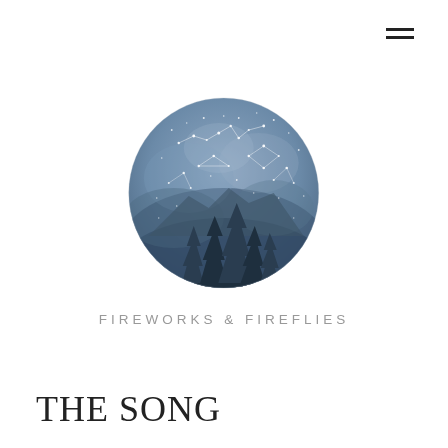[Figure (logo): Hamburger menu icon — three horizontal dark lines stacked]
[Figure (illustration): Circular logo illustration: a semicircle filled with a watercolor night sky in muted blue-grey tones, showing constellation line art, scattered white dots/stars, mountain silhouettes, and dark evergreen tree silhouettes at the bottom edge. The circle sits on a white background.]
FIREWORKS & FIREFLIES
THE SONG